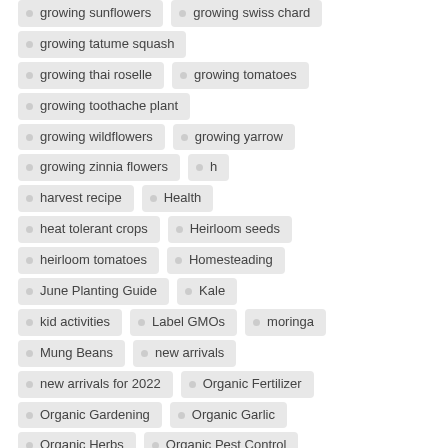growing sunflowers
growing swiss chard
growing tatume squash
growing thai roselle
growing tomatoes
growing toothache plant
growing wildflowers
growing yarrow
growing zinnia flowers
h
harvest recipe
Health
heat tolerant crops
Heirloom seeds
heirloom tomatoes
Homesteading
June Planting Guide
Kale
kid activities
Label GMOs
moringa
Mung Beans
new arrivals
new arrivals for 2022
Organic Fertilizer
Organic Gardening
Organic Garlic
Organic Herbs
Organic Pest Control
Organic Potatoes
Organic Recipe